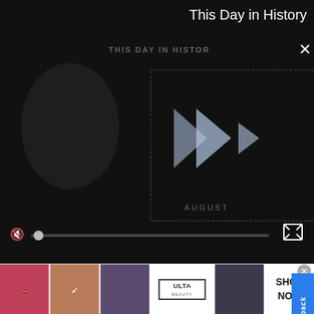[Figure (screenshot): Video player showing 'This Day in History' with play controls, mute button, progress bar, and fullscreen icon on dark background]
This Day in History
Mitchell County, Texas Poverty Rate by Employment Status and Sex
Show So
[Figure (bar-chart): Mitchell County, Texas Poverty Rate by Employment Status and Sex]
rate
[Figure (photo): ULTA Beauty advertisement banner with makeup/beauty images and SHOP NOW text]